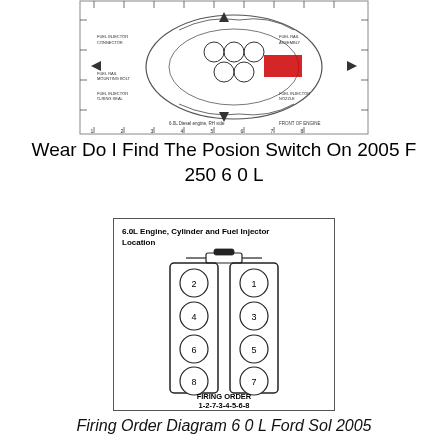[Figure (engineering-diagram): Top engine diagram showing a detailed engine schematic with labels, ruler markings, and a red highlighted box indicating a component location. Arrows point to various parts.]
Wear Do I Find The Posion Switch On 2005 F 250 6 0 L
[Figure (schematic): 6.0L Engine, Cylinder and Fuel Injector Location diagram showing two banks of cylinders (cylinders 1,3,5,7 on the right and 2,4,6,8 on the left) with a distributor/cap at the top. Firing order text: FIRING ORDER 1-2-7-3-4-5-6-8]
Firing Order Diagram 6 0 L Ford Sol 2005